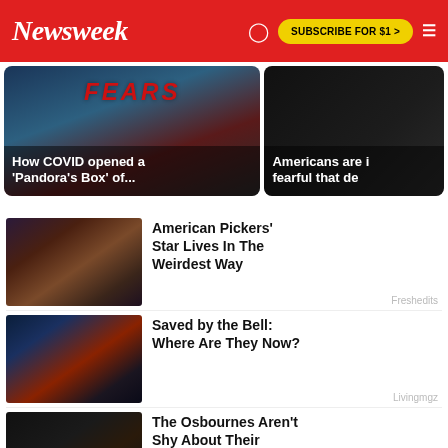Newsweek | SUBSCRIBE FOR $1 >
[Figure (screenshot): Top news card: FEARS text with COVID headline overlay – 'How COVID opened a Pandora's Box of...']
How COVID opened a 'Pandora's Box' of...
[Figure (screenshot): Top news card: Dark image with partial headline – 'Americans are increasingly fearful that de...']
Americans are increasingly fearful that de...
[Figure (photo): Woman in floral dress sitting in chair – American Pickers' Star thumbnail]
American Pickers' Star Lives In The Weirdest Way
Freshedits
[Figure (photo): Young man in retro set – Saved by the Bell thumbnail]
Saved by the Bell: Where Are They Now?
Livingmgz
[Figure (photo): The Osbournes family group photo thumbnail]
The Osbournes Aren't Shy About Their Addictions